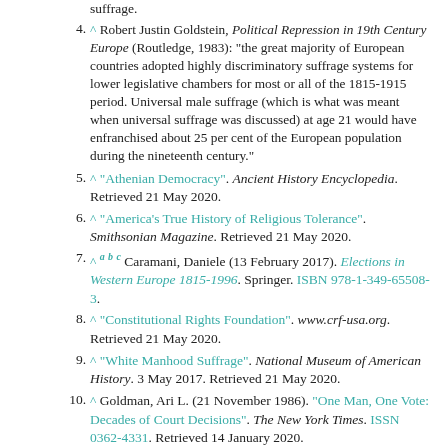suffrage.
^ Robert Justin Goldstein, Political Repression in 19th Century Europe (Routledge, 1983): "the great majority of European countries adopted highly discriminatory suffrage systems for lower legislative chambers for most or all of the 1815-1915 period. Universal male suffrage (which is what was meant when universal suffrage was discussed) at age 21 would have enfranchised about 25 per cent of the European population during the nineteenth century."
^ "Athenian Democracy". Ancient History Encyclopedia. Retrieved 21 May 2020.
^ "America's True History of Religious Tolerance". Smithsonian Magazine. Retrieved 21 May 2020.
^ a b c Caramani, Daniele (13 February 2017). Elections in Western Europe 1815-1996. Springer. ISBN 978-1-349-65508-3.
^ "Constitutional Rights Foundation". www.crf-usa.org. Retrieved 21 May 2020.
^ "White Manhood Suffrage". National Museum of American History. 3 May 2017. Retrieved 21 May 2020.
^ Goldman, Ari L. (21 November 1986). "One Man, One Vote: Decades of Court Decisions". The New York Times. ISSN 0362-4331. Retrieved 14 January 2020.
^ Pederson, William D. "Earl Warren". www.mtsu.edu. Retrieved 14 January 2020.